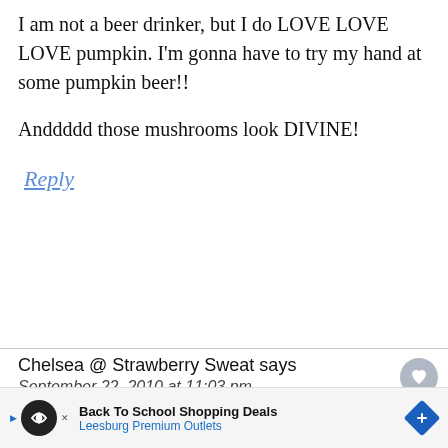I am not a beer drinker, but I do LOVE LOVE LOVE pumpkin. I'm gonna have to try my hand at some pumpkin beer!!

Anddddd those mushrooms look DIVINE!
Reply
Chelsea @ Strawberry Sweat says
September 22, 2010 at 11:03 pm
I am so jealous of the selection of pumpkin
[Figure (other): What's Next thumbnail with food image and text: Swim, Swam, Swum]
Back To School Shopping Deals
Leesburg Premium Outlets